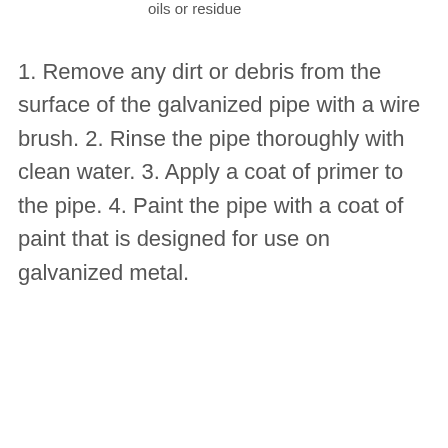oils or residue
1. Remove any dirt or debris from the surface of the galvanized pipe with a wire brush. 2. Rinse the pipe thoroughly with clean water. 3. Apply a coat of primer to the pipe. 4. Paint the pipe with a coat of paint that is designed for use on galvanized metal.
[Figure (screenshot): YouTube video thumbnail showing 'How to paint Galvanised steel' with channel logo, video title, three-dot menu, and thumbnail image showing paint cans including Zinsser brand with GALVANISED METAL PAINT watermark text and a YouTube play button overlay]